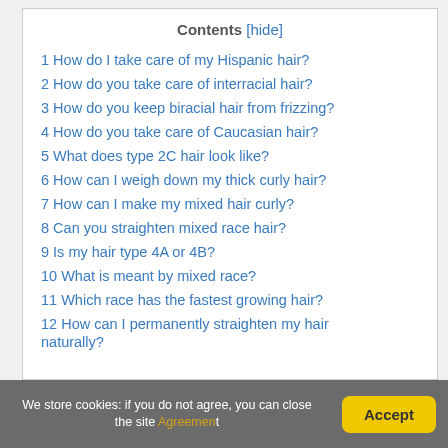Contents [hide]
1 How do I take care of my Hispanic hair?
2 How do you take care of interracial hair?
3 How do you keep biracial hair from frizzing?
4 How do you take care of Caucasian hair?
5 What does type 2C hair look like?
6 How can I weigh down my thick curly hair?
7 How can I make my mixed hair curly?
8 Can you straighten mixed race hair?
9 Is my hair type 4A or 4B?
10 What is meant by mixed race?
11 Which race has the fastest growing hair?
12 How can I permanently straighten my hair naturally?
We store cookies: if you do not agree, you can close the site Agreement